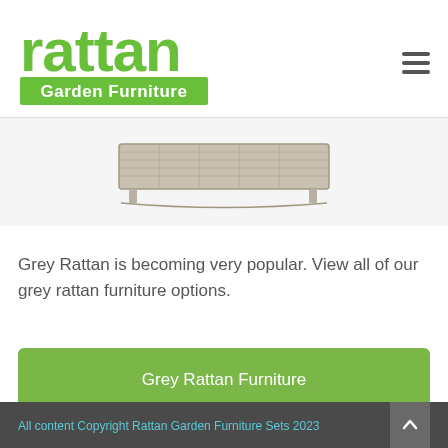[Figure (logo): Rattan Garden Furniture logo in green with text 'rattan' in large lowercase letters and 'Garden Furniture' in a green bar below]
[Figure (photo): Product image of a grey rattan outdoor furniture piece (appears to be a sideboard or storage unit) on white background]
Grey Rattan is becoming very popular. View all of our grey rattan furniture options.
Grey Rattan Furniture
All content Copyright Rattan Garden Furniture Sets 2023